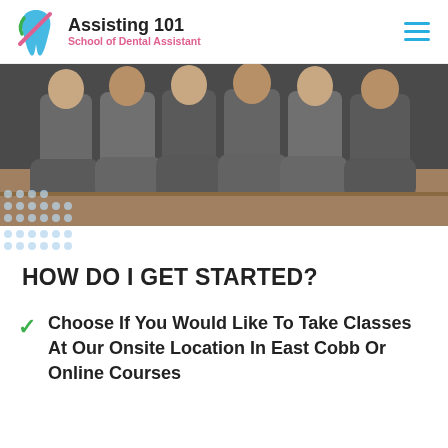Assisting 101 – School of Dental Assistant
[Figure (photo): Group of students in scrubs kneeling on a carpeted floor in a row, viewed from the waist down]
HOW DO I GET STARTED?
Choose If You Would Like To Take Classes At Our Onsite Location In East Cobb Or Online Courses